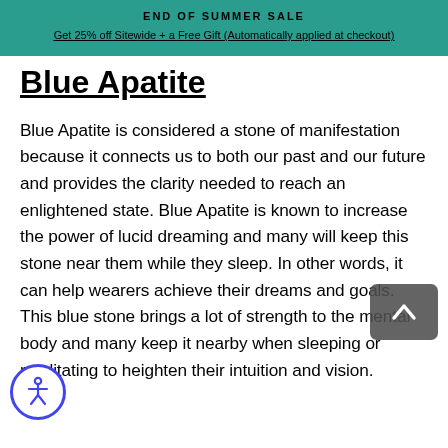END OF SUMMER SALE
Get 25% off Sitewide + a Free Gift (Automatically applied at checkout)
Blue Apatite
Blue Apatite is considered a stone of manifestation because it connects us to both our past and our future and provides the clarity needed to reach an enlightened state. Blue Apatite is known to increase the power of lucid dreaming and many will keep this stone near them while they sleep. In other words, it can help wearers achieve their dreams and goals. This blue stone brings a lot of strength to the mental body and many keep it nearby when sleeping or meditating to heighten their intuition and vision.